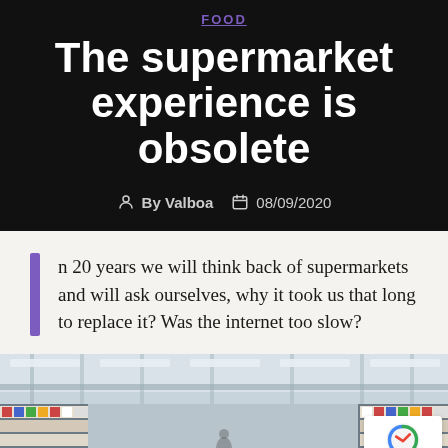FOOD
The supermarket experience is obsolete
By Valboa   08/09/2020
n 20 years we will think back of supermarkets and will ask ourselves, why it took us that long to replace it? Was the internet too slow?
[Figure (photo): Interior of a supermarket aisle with shelves stocked with products, bright overhead lighting, viewed from a low angle.]